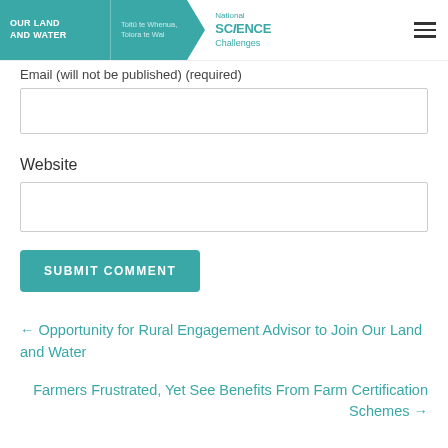OUR LAND AND WATER | Toitū te Whenua, Toiora te Wai | National Science Challenges
Email (will not be published) (required)
Website
SUBMIT COMMENT
← Opportunity for Rural Engagement Advisor to Join Our Land and Water
Farmers Frustrated, Yet See Benefits From Farm Certification Schemes →